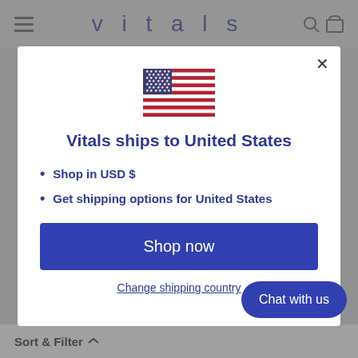vitals
[Figure (illustration): US flag emoji]
Vitals ships to United States
Shop in USD $
Get shipping options for United States
Shop now
Change shipping country
Chat with us
Sort & Filter